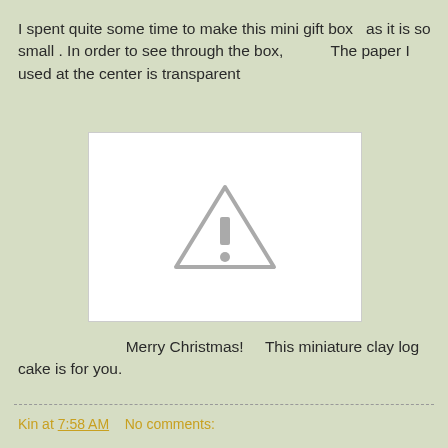I spent quite some time to make this mini gift box  as it is so small . In order to see through the box,           The paper I used at the center is transparent
[Figure (photo): White image placeholder with a grey warning triangle icon containing an exclamation mark, indicating a missing or unavailable image.]
Merry Christmas!     This miniature clay log cake is for you.
Kin at 7:58 AM    No comments: